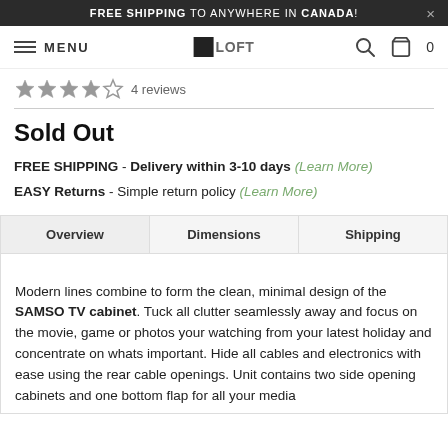FREE SHIPPING TO ANYWHERE IN CANADA!
[Figure (screenshot): Navigation bar with hamburger menu icon, MENU text, LOFT logo, search icon, and cart icon with 0 items]
4 reviews
Sold Out
FREE SHIPPING - Delivery within 3-10 days (Learn More)
EASY Returns - Simple return policy (Learn More)
Overview | Dimensions | Shipping
Modern lines combine to form the clean, minimal design of the SAMSO TV cabinet. Tuck all clutter seamlessly away and focus on the movie, game or photos your watching from your latest holiday and concentrate on whats important. Hide all cables and electronics with ease using the rear cable openings. Unit contains two side opening cabinets and one bottom flap for all your media